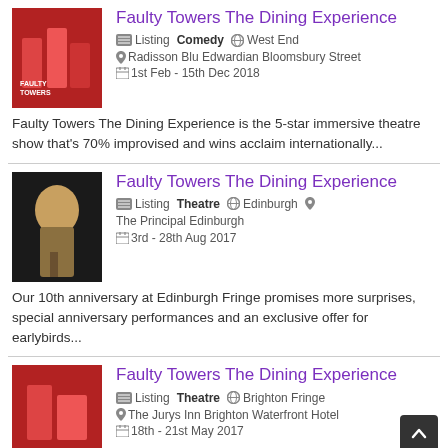Faulty Towers The Dining Experience
Listing  Comedy  West End
Radisson Blu Edwardian Bloomsbury Street
1st Feb - 15th Dec 2018
Faulty Towers The Dining Experience is the 5-star immersive theatre show that's 70% improvised and wins acclaim internationally...
Faulty Towers The Dining Experience
Listing  Theatre  Edinburgh  The Principal Edinburgh
3rd - 28th Aug 2017
Our 10th anniversary at Edinburgh Fringe promises more surprises, special anniversary performances and an exclusive offer for earlybirds...
Faulty Towers The Dining Experience
Listing  Theatre  Brighton Fringe
The Jurys Inn Brighton Waterfront Hotel
18th - 21st May 2017